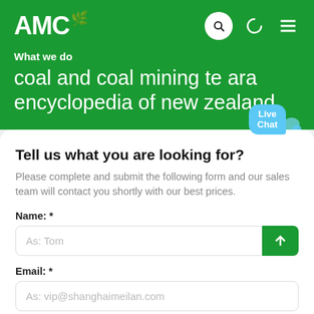AMC
What we do
coal and coal mining te ara encyclopedia of new zealand
Tell us what you are looking for?
Please complete and submit the following form and our sales team will contact you shortly with our best prices.
Name: *
As: Tom
Email: *
As: vip@shanghaimeilan.com
Phone: *